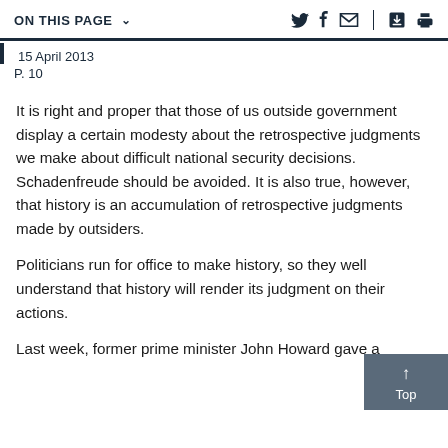ON THIS PAGE ∨
15 April 2013
P. 10
It is right and proper that those of us outside government display a certain modesty about the retrospective judgments we make about difficult national security decisions. Schadenfreude should be avoided. It is also true, however, that history is an accumulation of retrospective judgments made by outsiders.
Politicians run for office to make history, so they well understand that history will render its judgment on their actions.
Last week, former prime minister John Howard gave a